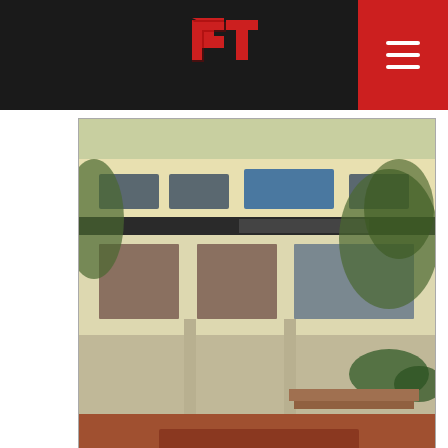GT logo navigation bar with hamburger menu
[Figure (photo): Exterior photograph of the Anna University Library building, a multi-story yellowed building with large windows, trees, and red-tiled walkway in front.]
Established in 1978, I have been a permanent fixture in an ever changing landscape of the university. Nestled amongst the trees on the eastern side of the campus, I am perhaps one of the most important buildings on campus. Who am I? Yeah, you guessed it right! I am the Anna University Library.